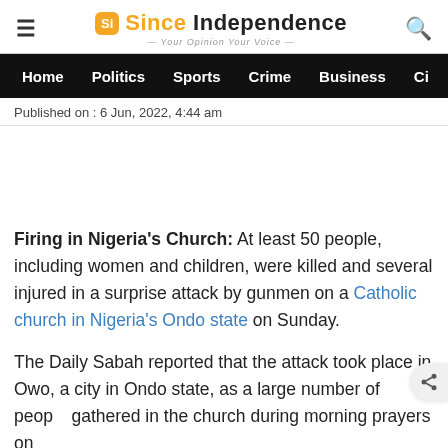Since Independence — Your Opinion Your Voice
Home | Politics | Sports | Crime | Business | C...
Published on : 6 Jun, 2022, 4:44 am
Firing in Nigeria's Church: At least 50 people, including women and children, were killed and several injured in a surprise attack by gunmen on a Catholic church in Nigeria's Ondo state on Sunday.
The Daily Sabah reported that the attack took place in Owo, a city in Ondo state, as a large number of people gathered in the church during morning prayers on